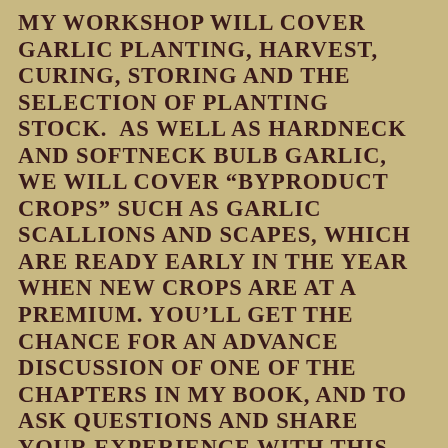MY WORKSHOP WILL COVER GARLIC PLANTING, HARVEST, CURING, STORING AND THE SELECTION OF PLANTING STOCK.  AS WELL AS HARDNECK AND SOFTNECK BULB GARLIC, WE WILL COVER “BYPRODUCT CROPS” SUCH AS GARLIC SCALLIONS AND SCAPES, WHICH ARE READY EARLY IN THE YEAR WHEN NEW CROPS ARE AT A PREMIUM. YOU’LL GET THE CHANCE FOR AN ADVANCE DISCUSSION OF ONE OF THE CHAPTERS IN MY BOOK, AND TO ASK QUESTIONS AND SHARE YOUR EXPERIENCE WITH THIS TASTY CROP.
My book, Sustainable Market Farming, and its chapter on garlic, won’t be published in time for the conference, but I will have postcards